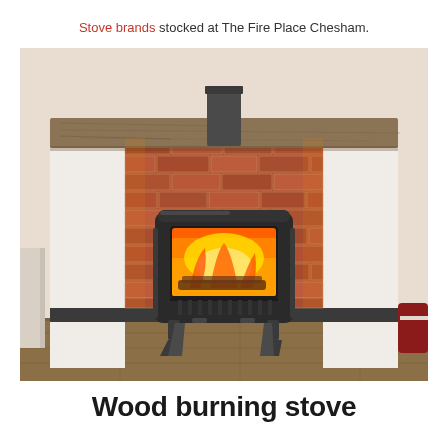Stove brands stocked at The Fire Place Chesham.
[Figure (photo): A wood burning stove with glowing fire inside, set within a brick fireplace alcove with a wooden beam mantel and slate hearth in a domestic interior.]
Wood burning stove